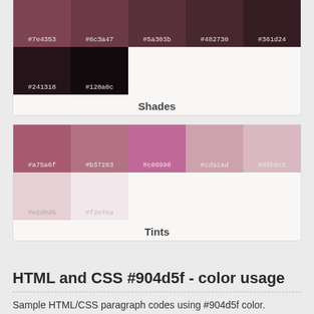[Figure (infographic): Color shades palette card showing two rows of color swatches: top row with #7e4353, #6c3a47, #5a303b, #482730, #361d24; bottom row partial showing #241318, #120a0c. Card labeled 'Shades'.]
[Figure (infographic): Color tints palette card showing two rows: top row with #a75a6f, #b37283, #c06998, #cda1ad, #d9b8c1; bottom row with #e6d0d6, #f2e7ea. Card labeled 'Tints'.]
HTML and CSS #904d5f - color usage
Sample HTML/CSS paragraph codes using #904d5f color.